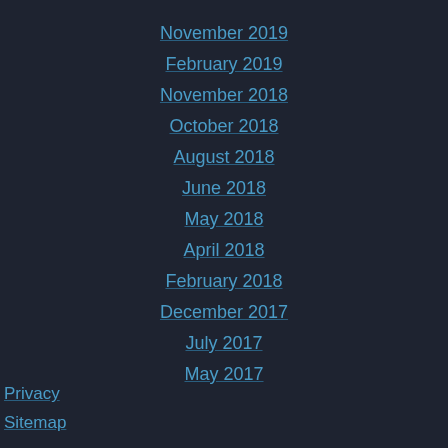November 2019
February 2019
November 2018
October 2018
August 2018
June 2018
May 2018
April 2018
February 2018
December 2017
July 2017
May 2017
Privacy
Sitemap